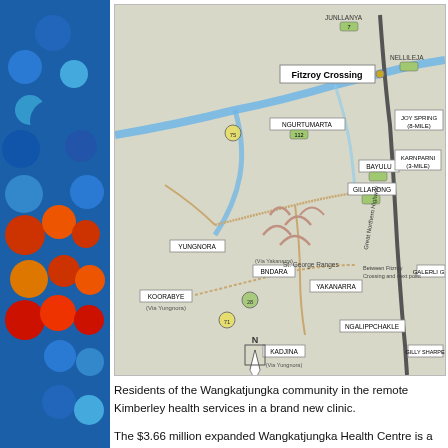[Figure (map): Map showing Communities of the Fitzroy Valley, Western Australia. Map 4 - Communities & Distances in Colour Version 1. Shows Fitzroy Crossing and surrounding Aboriginal communities including Wangkatjungka, Yakanarra, Noonkanbah, Bayulu, Gillarong, Kurlku, Ngarantjarra, and others, with distances marked. Legend indicates Aboriginal Communities, marker points, and distance markers. Note: Not to scale. 2008 David Beurteaux, Marra Worra Worra Aboriginal Corporation, Fitzroy Crossing, Western Australia.]
Residents of the Wangkatjungka community in the remote Kimberley health services in a brand new clinic.
The $3.66 million expanded Wangkatjungka Health Centre is a fit-for that will transform the way patients access hospital treatment and cli...